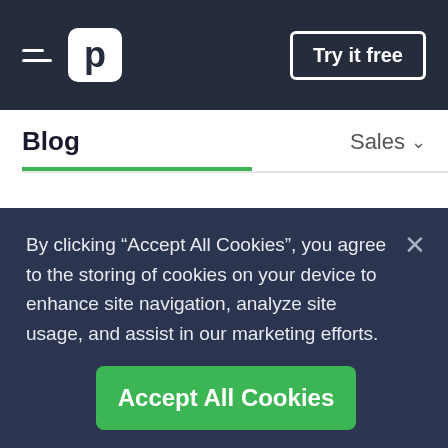Pipedrive logo and navigation with Try it free button
Blog   Sales
The first thing to do is figure out the weaknesses of the competitor's product, and pit them against the biggest strengths of yours. Do your proper research on the current situation.
By clicking “Accept All Cookies”, you agree to the storing of cookies on your device to enhance site navigation, analyze site usage, and assist in our marketing efforts.
Accept All Cookies